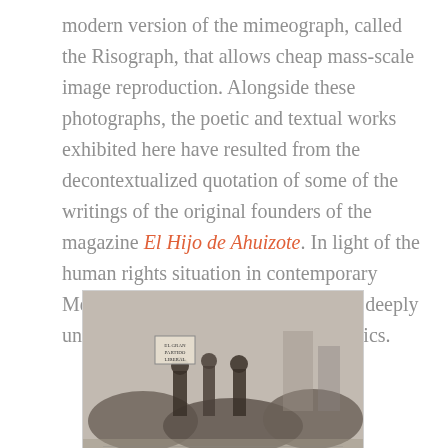modern version of the mimeograph, called the Risograph, that allows cheap mass-scale image reproduction. Alongside these photographs, the poetic and textual works exhibited here have resulted from the decontextualized quotation of some of the writings of the original founders of the magazine El Hijo de Ahuizote. In light of the human rights situation in contemporary Mexico, these texts are likely to have deeply unsettling resonances for today's publics.
[Figure (photo): Black and white photograph of a protest/demonstration scene with people holding signs]
2070
[Figure (photo): Small thumbnail image, number 2070]
2081